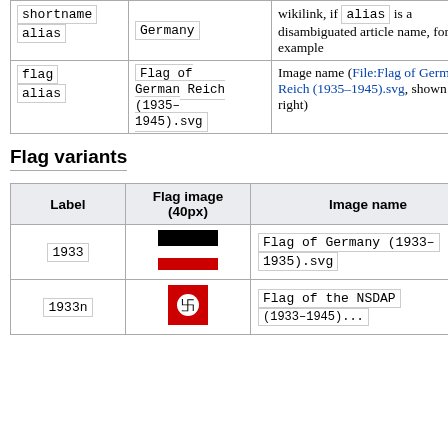|  |  |  |
| --- | --- | --- |
| shortname
alias | Germany | wikilink, if alias is a disambiguated article name, for example |
| flag
alias | Flag of German Reich (1935–1945).svg | Image name (File:Flag of German Reich (1935–1945).svg, shown on right) |
Flag variants
| Label | Flag image (40px) | Image name |
| --- | --- | --- |
| 1933 | [flag image] | Flag of Germany (1933–1935).svg |
| 1933n | [flag image] | Flag of the NSDAP (1933–1945)... |